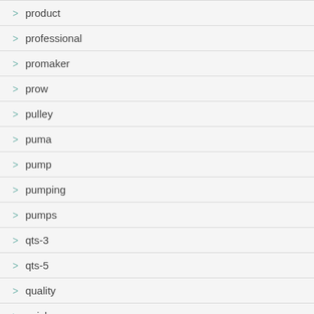product
professional
promaker
prow
pulley
puma
pump
pumping
pumps
qts-3
qts-5
quality
quick